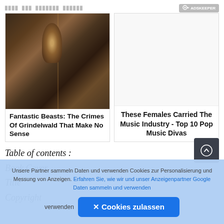████ ███ ███████ ██████ [ADSKEEPER logo]
[Figure (photo): Movie still from Fantastic Beasts: The Crimes of Grindelwald showing a young man in period clothing walking through an ornate interior hall]
Fantastic Beasts: The Crimes Of Grindelwald That Make No Sense
[Figure (photo): Empty white/light gray image placeholder for the article about Top 10 Pop Music Divas]
These Females Carried The Music Industry - Top 10 Pop Music Divas
Table of contents :
Book Cover
Title
Copyright
Unsere Partner sammeln Daten und verwenden Cookies zur Personalisierung und Messung von Anzeigen. Erfahren Sie, wie wir und unser Anzeigenpartner Google Daten sammeln und verwenden
✕ Cookies zulassen